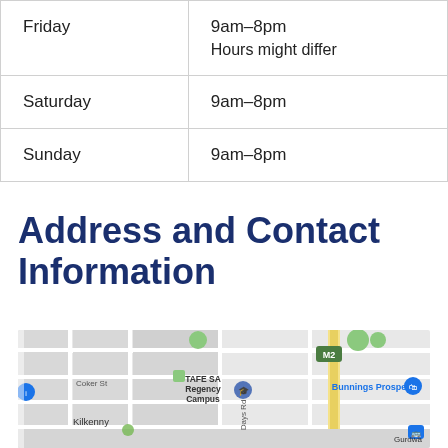| Day | Hours |
| --- | --- |
| Friday | 9am–8pm
Hours might differ |
| Saturday | 9am–8pm |
| Sunday | 9am–8pm |
Address and Contact Information
[Figure (map): Google Maps screenshot showing the area around TAFE SA Regency Campus, with Bunnings Prospect, Kilkenny, Coker St, Days Rd, and M2 motorway visible.]